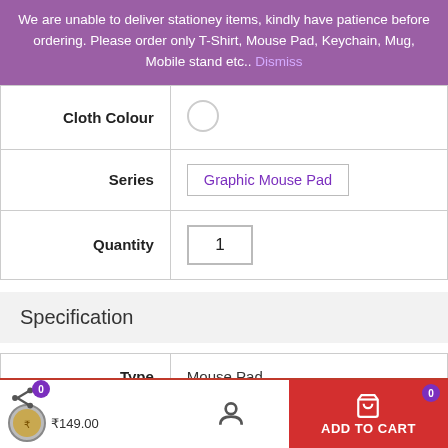We are unable to deliver stationey items, kindly have patience before ordering. Please order only T-Shirt, Mouse Pad, Keychain, Mug, Mobile stand etc.. Dismiss
| Cloth Colour |  |
| --- | --- |
| Cloth Colour | (circle) |
| Series | Graphic Mouse Pad |
| Quantity | 1 |
Specification
| Type | Mouse Pad |
| --- | --- |
| Type | Mouse Pad |
| Pattern | Printed |
| Design Code | 00a |
0  [share icon]  [user icon]  ADD TO CART  0  ₹149.00